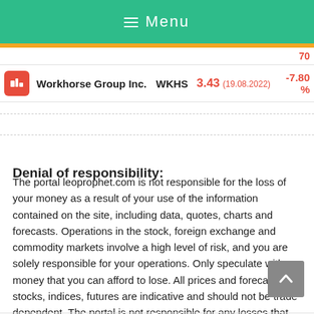≡ Menu
| Company | Ticker | Price | Change |
| --- | --- | --- | --- |
|  |  |  | 70 |
| Workhorse Group Inc. | WKHS | 3.43 (19.08.2022) | -7.80 % |
Denial of responsibility:
The portal leoprophet.com is not responsible for the loss of your money as a result of your use of the information contained on the site, including data, quotes, charts and forecasts. Operations in the stock, foreign exchange and commodity markets involve a high level of risk, and you are solely responsible for your operations. Only speculate with money that you can afford to lose. All prices and forecasts for stocks, indices, futures are indicative and should not be trade dependent. The portal is not responsible for any losses that you may incur as a result of using this data.